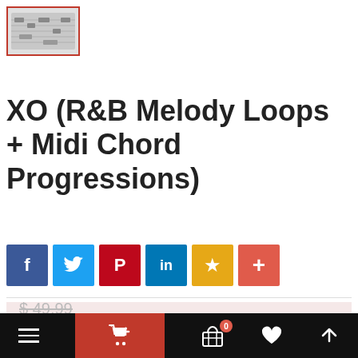[Figure (thumbnail): Small product thumbnail image with red border showing sheet music or piano roll notation on light background]
XO (R&B Melody Loops + Midi Chord Progressions)
[Figure (infographic): Row of social sharing buttons: Facebook (blue), Twitter (light blue), Pinterest (red), LinkedIn (dark blue), Favorites/Star (yellow), More/Plus (orange-red)]
$ 49.99 (strikethrough old price)
$ 24.99 (new sale price)
[Figure (infographic): Bottom navigation bar with hamburger menu icon, red cart button with shopping cart icon, basket icon with 0 badge, heart icon, and up arrow icon]